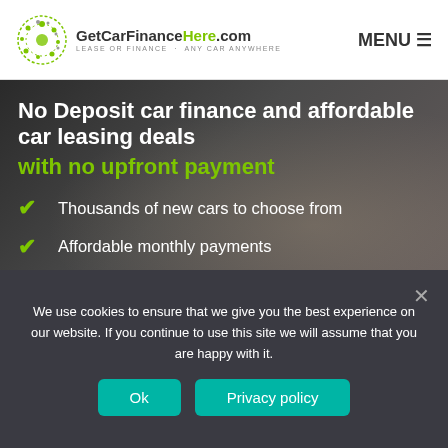GetCarFinanceHere.com — LEASE OR FINANCE · ANY CAR ANYWHERE | MENU
No Deposit car finance and affordable car leasing deals with no upfront payment
Thousands of new cars to choose from
Affordable monthly payments
No hefty lump sum to pay
We use cookies to ensure that we give you the best experience on our website. If you continue to use this site we will assume that you are happy with it.